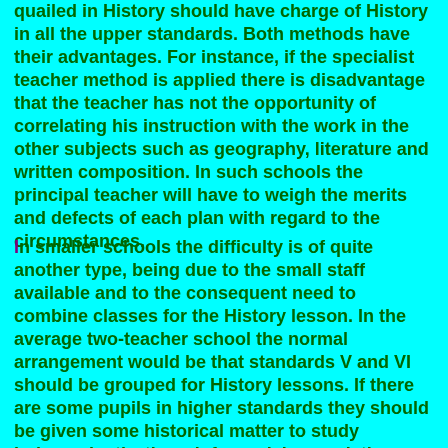quailed in History should have charge of History in all the upper standards. Both methods have their advantages. For instance, if the specialist teacher method is applied there is disadvantage that the teacher has not the opportunity of correlating his instruction with the work in the other subjects such as geography, literature and written composition. In such schools the principal teacher will have to weigh the merits and defects of each plan with regard to the circumstances.
In smaller schools the difficulty is of quite another type, being due to the small staff available and to the consequent need to combine classes for the History lesson. In the average two-teacher school the normal arrangement would be that standards V and VI should be grouped for History lessons. If there are some pupils in higher standards they should be given some historical matter to study independently, though for revision work they might occasionally be taken with standards V and VI. The teacher may, however, consider it more judicious to group standards VI and VII. If so, he should arrange to give at least one half-